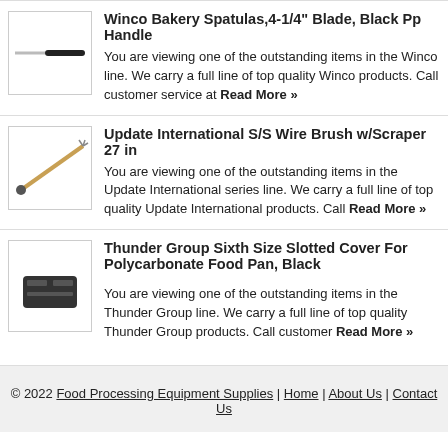[Figure (photo): Product image of Winco Bakery Spatula with black handle]
Winco Bakery Spatulas,4-1/4" Blade, Black Pp Handle
You are viewing one of the outstanding items in the Winco line. We carry a full line of top quality Winco products. Call customer service at Read More »
[Figure (photo): Product image of Update International S/S Wire Brush with Scraper 27 in]
Update International S/S Wire Brush w/Scraper 27 in
You are viewing one of the outstanding items in the Update International series line. We carry a full line of top quality Update International products. Call Read More »
[Figure (photo): Product image of Thunder Group Sixth Size Slotted Cover For Polycarbonate Food Pan, Black]
Thunder Group Sixth Size Slotted Cover For Polycarbonate Food Pan, Black
You are viewing one of the outstanding items in the Thunder Group line. We carry a full line of top quality Thunder Group products. Call customer Read More »
© 2022 Food Processing Equipment Supplies | Home | About Us | Contact Us